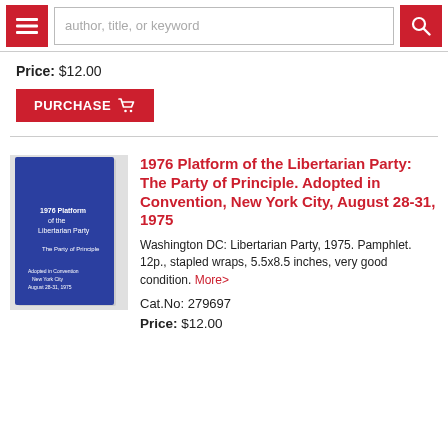author, title, or keyword
Price: $12.00
PURCHASE
[Figure (photo): Blue pamphlet cover of '1976 Platform of the Libertarian Party: The Party of Principle']
1976 Platform of the Libertarian Party: The Party of Principle. Adopted in Convention, New York City, August 28-31, 1975
Washington DC: Libertarian Party, 1975. Pamphlet. 12p., stapled wraps, 5.5x8.5 inches, very good condition. More>
Cat.No: 279697
Price: $12.00